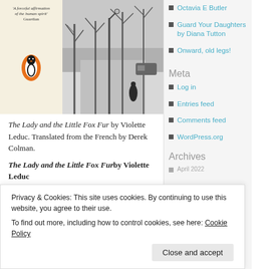[Figure (photo): Book cover of 'The Lady and the Little Fox Fur' (Penguin edition) with a quote 'A forceful affirmation of the human spirit' - Guardian, and a black and white street photograph showing a winter scene with bare trees and a lone figure walking.]
The Lady and the Little Fox Fur by Violette Leduc. Translated from the French by Derek Colman.
The Lady and the Little Fox Fur by Violette Leduc
The lady of the title is about fifty and living...
she never married, has no children, never had a
Octavia E Butler
Guard Your Daughters by Diana Tutton
Onward, old legs!
Meta
Log in
Entries feed
Comments feed
WordPress.org
Archives
Privacy & Cookies: This site uses cookies. By continuing to use this website, you agree to their use.
To find out more, including how to control cookies, see here: Cookie Policy
Close and accept